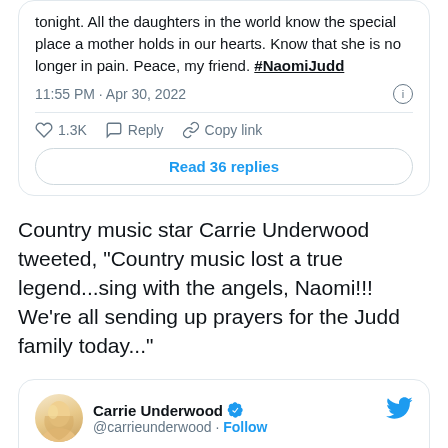[Figure (screenshot): Tweet card showing partial tweet text ending with '...tonight. All the daughters in the world know the special place a mother holds in our hearts. Know that she is no longer in pain. Peace, my friend. #NaomiJudd', timestamp '11:55 PM · Apr 30, 2022', 1.3K likes, Reply, Copy link actions, and 'Read 36 replies' button]
Country music star Carrie Underwood tweeted, "Country music lost a true legend...sing with the angels, Naomi!!! We're all sending up prayers for the Judd family today..."
[Figure (screenshot): Tweet card from Carrie Underwood (@carrieunderwood) with verified badge and Follow link. Text begins: 'Country music lost a true legend...sing with']